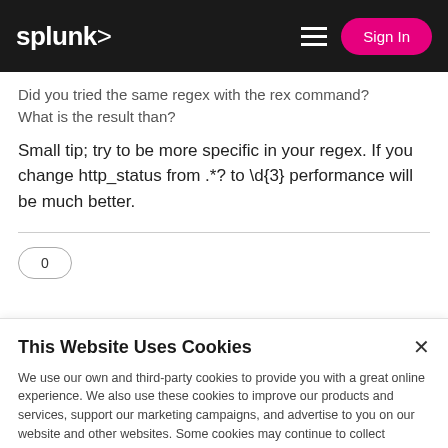splunk> Sign In
Did you tried the same regex with the rex command? What is the result than?
Small tip; try to be more specific in your regex. If you change http_status from .*? to \d{3} performance will be much better.
This Website Uses Cookies
We use our own and third-party cookies to provide you with a great online experience. We also use these cookies to improve our products and services, support our marketing campaigns, and advertise to you on our website and other websites. Some cookies may continue to collect information after you have left our website. Learn more here ›
Accept Cookies   Cookies Settings ›